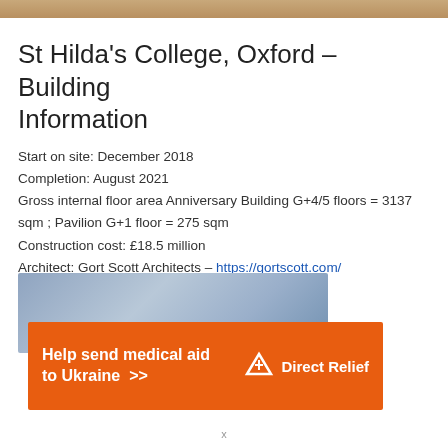[Figure (photo): Top image strip showing building or outdoor scene]
St Hilda's College, Oxford – Building Information
Start on site: December 2018
Completion: August 2021
Gross internal floor area Anniversary Building G+4/5 floors = 3137 sqm ; Pavilion G+1 floor = 275 sqm
Construction cost: £18.5 million
Architect: Gort Scott Architects – https://gortscott.com/
Client: St Hilda's College, Oxford
Main contractor: Beard Construction
[Figure (photo): Partial photo of building with blue-grey sky]
[Figure (other): Direct Relief advertisement banner – Help send medical aid to Ukraine]